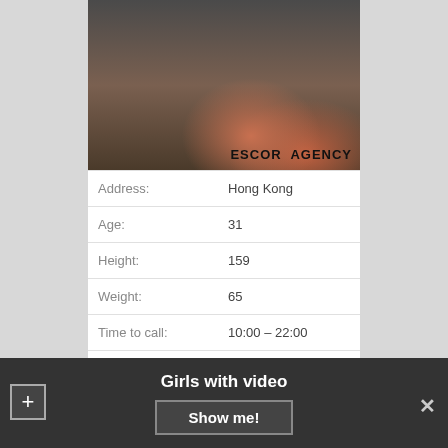[Figure (photo): Photo of a woman's legs in red high heels and black dress seated on a stool, with text 'ESCORT AGENCY' overlaid at the bottom right]
| Address: | Hong Kong |
| Age: | 31 |
| Height: | 159 |
| Weight: | 65 |
| Time to call: | 10:00 – 22:00 |
| Couples: | 300$ |
Girls with video
Show me!